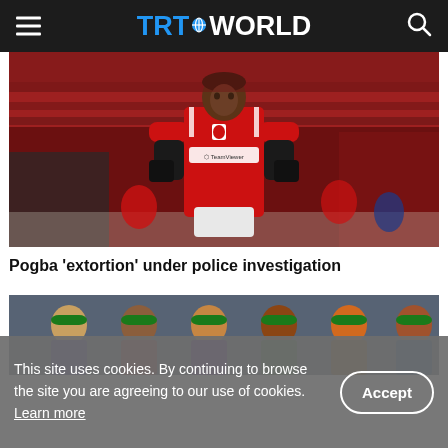TRT WORLD
[Figure (photo): Paul Pogba in red Manchester United jersey with TeamViewer sponsor, hands on hips, looking up, crowd in background]
Pogba 'extortion' under police investigation
[Figure (photo): Cricket players wearing green caps and colorful jerseys gathered together]
This site uses cookies. By continuing to browse the site you are agreeing to our use of cookies. Learn more